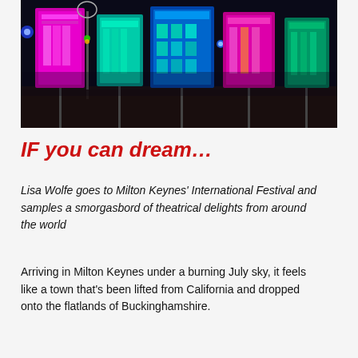[Figure (photo): Nighttime outdoor photo of several illuminated art panels on poles, glowing in vivid pink, cyan, green, and yellow colors against a dark sky. The panels appear to show architectural or decorative imagery. There are also colored lights (blue and green/orange) visible among the panels on a dark grassy field.]
IF you can dream…
Lisa Wolfe goes to Milton Keynes' International Festival and samples a smorgasbord of theatrical delights from around the world
Arriving in Milton Keynes under a burning July sky, it feels like a town that's been lifted from California and dropped onto the flatlands of Buckinghamshire.